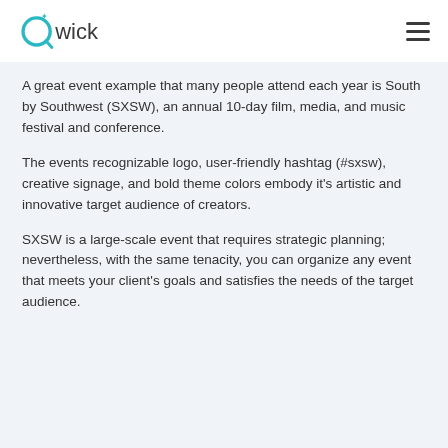Qwick
A great event example that many people attend each year is South by Southwest (SXSW), an annual 10-day film, media, and music festival and conference.
The events recognizable logo, user-friendly hashtag (#sxsw), creative signage, and bold theme colors embody it's artistic and innovative target audience of creators.
SXSW is a large-scale event that requires strategic planning; nevertheless, with the same tenacity, you can organize any event that meets your client's goals and satisfies the needs of the target audience.